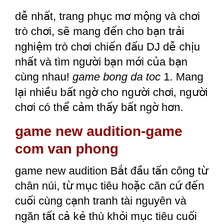dễ nhất, trang phục mơ mộng và chơi trò chơi, sẽ mang đến cho bạn trải nghiệm trò chơi chiến đấu DJ dễ chịu nhất và tìm người bạn mới của bạn cùng nhau! game bong da toc 1. Mang lại nhiều bất ngờ cho người chơi, người chơi có thể cảm thấy bất ngờ hơn.
game new audition-game com van phong
game new audition Bắt đầu tấn công từ chân núi, từ mục tiêu hoặc căn cứ đến cuối cùng cạnh tranh tài nguyên và ngăn tất cả kẻ thù khỏi mục tiêu cuối cùng, quá trình này sẽ rất phức tạp. Chúng ta cần chú ý đến việc bảo vệ căn cứ của mình trong trò chơi, sử dụng tài nguyên một cách hợp lý, hoàn